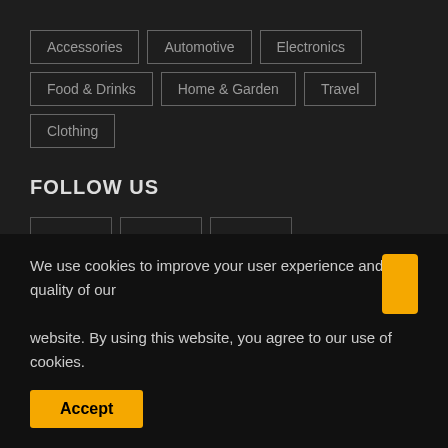Accessories
Automotive
Electronics
Food & Drinks
Home & Garden
Travel
Clothing
FOLLOW US
[Figure (other): Social media icons: Facebook (f), Instagram, Pinterest]
NEWSLETTER
[Figure (other): Email input field (white rectangle)]
We use cookies to improve your user experience and the quality of our website. By using this website, you agree to our use of cookies.
Accept